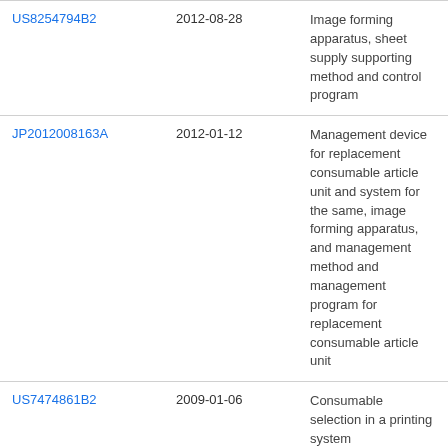| Patent | Date | Description |
| --- | --- | --- |
| US8254794B2 | 2012-08-28 | Image forming apparatus, sheet supply supporting method and control program |
| JP2012008163A | 2012-01-12 | Management device for replacement consumable article unit and system for the same, image forming apparatus, and management method and management program for replacement consumable article unit |
| US7474861B2 | 2009-01-06 | Consumable selection in a printing system |
| CN102218946A | 2011-10-19 | Printing apparatus and printing system |
| JP2011191433A | 2011-09-29 | Image forming apparatus |